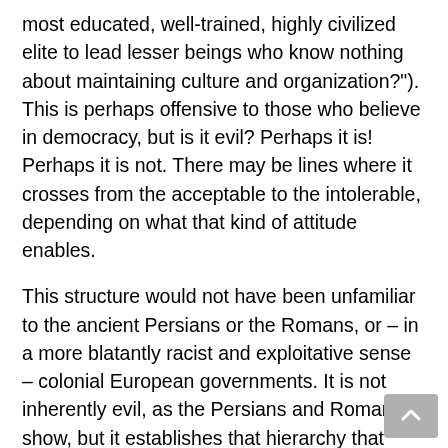most educated, well-trained, highly civilized elite to lead lesser beings who know nothing about maintaining culture and organization?"). This is perhaps offensive to those who believe in democracy, but is it evil? Perhaps it is! Perhaps it is not. There may be lines where it crosses from the acceptable to the intolerable, depending on what that kind of attitude enables.
This structure would not have been unfamiliar to the ancient Persians or the Romans, or – in a more blatantly racist and exploitative sense – colonial European governments. It is not inherently evil, as the Persians and Romans show, but it establishes that hierarchy that binds the privileged few together and excludes the others (look up the concept of “paideia” and its role in providing civic ruling classes a shared unifying culture, particularly in Peter Brown’s